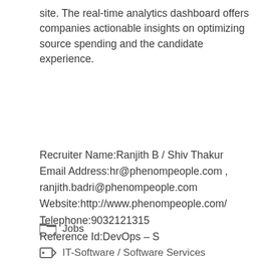site. The real-time analytics dashboard offers companies actionable insights on optimizing source spending and the candidate experience.
Recruiter Name:Ranjith B / Shiv Thakur Email Address:hr@phenompeople.com , ranjith.badri@phenompeople.com Website:http://www.phenompeople.com/ Telephone:9032121315 Reference Id:DevOps – S
Jobs
IT-Software / Software Services